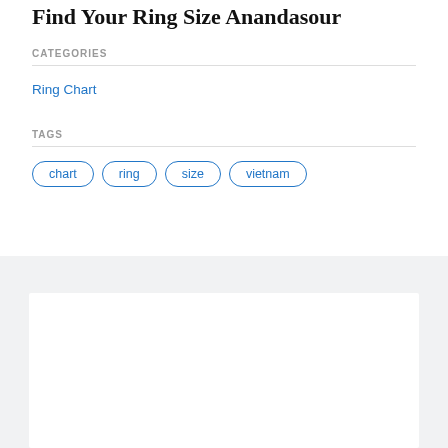Find Your Ring Size Anandasour
CATEGORIES
Ring Chart
TAGS
chart
ring
size
vietnam